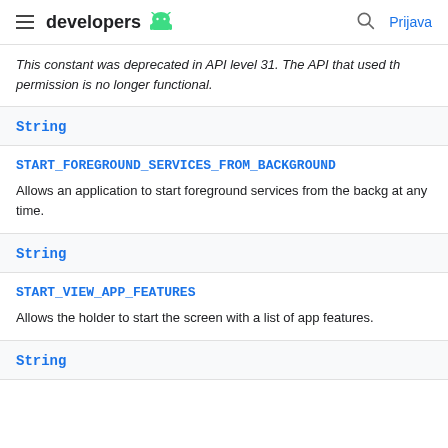developers  Prijava
This constant was deprecated in API level 31. The API that used th permission is no longer functional.
String
START_FOREGROUND_SERVICES_FROM_BACKGROUND
Allows an application to start foreground services from the backg at any time.
String
START_VIEW_APP_FEATURES
Allows the holder to start the screen with a list of app features.
String